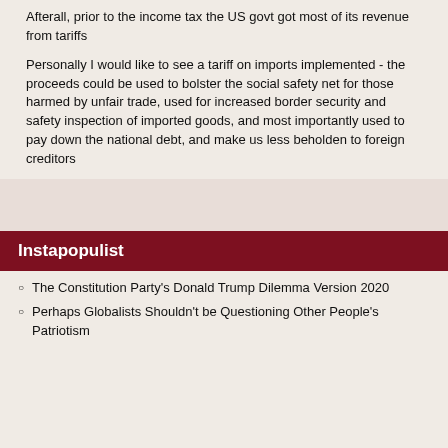Afterall, prior to the income tax the US govt got most of its revenue from tariffs
Personally I would like to see a tariff on imports implemented - the proceeds could be used to bolster the social safety net for those harmed by unfair trade, used for increased border security and safety inspection of imported goods, and most importantly used to pay down the national debt, and make us less beholden to foreign creditors
Instapopulist
The Constitution Party's Donald Trump Dilemma Version 2020
Perhaps Globalists Shouldn't be Questioning Other People's Patriotism